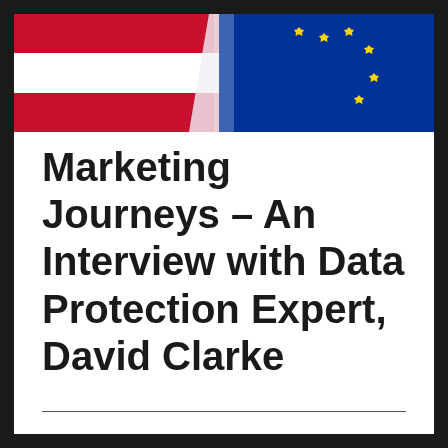[Figure (illustration): Flag banner showing Austrian flag (red-white-red horizontal stripes) on the left and EU flag (blue with gold stars) on the right, displayed as a decorative header banner.]
Marketing Journeys – An Interview with Data Protection Expert, David Clarke